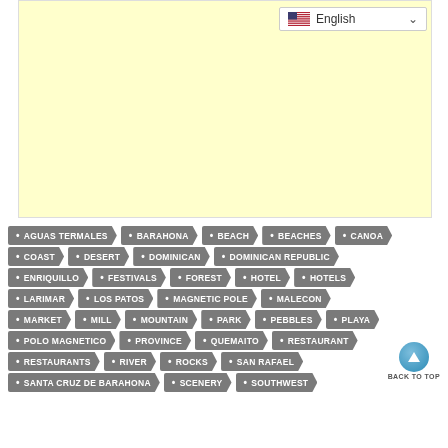[Figure (other): Yellow advertisement placeholder box]
AGUAS TERMALES
BARAHONA
BEACH
BEACHES
CANOA
COAST
DESERT
DOMINICAN
DOMINICAN REPUBLIC
ENRIQUILLO
FESTIVALS
FOREST
HOTEL
HOTELS
LARIMAR
LOS PATOS
MAGNETIC POLE
MALECON
MARKET
MILL
MOUNTAIN
PARK
PEBBLES
PLAYA
POLO MAGNETICO
PROVINCE
QUEMAITO
RESTAURANT
RESTAURANTS
RIVER
ROCKS
SAN RAFAEL
SANTA CRUZ DE BARAHONA
SCENERY
SOUTHWEST